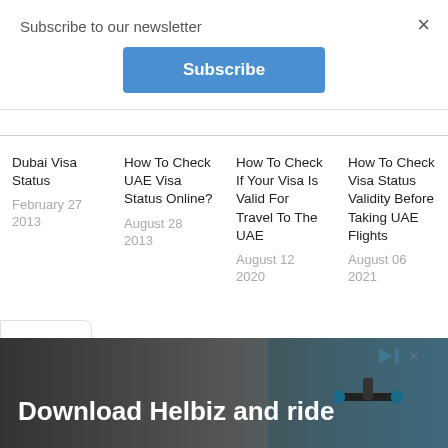Subscribe to our newsletter
×
Subscribe
Dubai Visa Status
February 27 2013
How To Check UAE Visa Status Online?
August 28 2013
How To Check If Your Visa Is Valid For Travel To The UAE
August 12 2020
How To Check Visa Status Validity Before Taking UAE Flights
August 06 2021
[Figure (screenshot): Advertisement banner: Download Helbiz and ride, with play/close icons at top right, dark background with scooter handlebars image]
Download Helbiz and ride